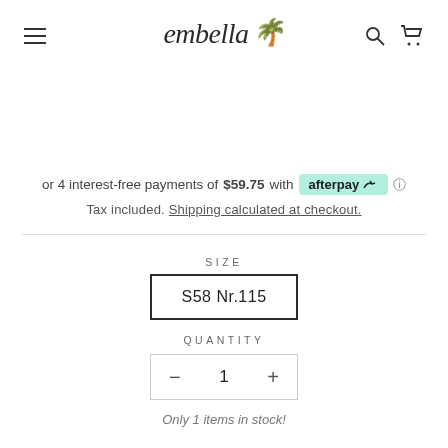[Figure (logo): Embella brand logo with script font and palm tree icon, plus hamburger menu, search and cart icons]
or 4 interest-free payments of $59.75 with afterpay ⓘ
Tax included. Shipping calculated at checkout.
SIZE
S58 Nr.115
QUANTITY
− 1 +
Only 1 items in stock!